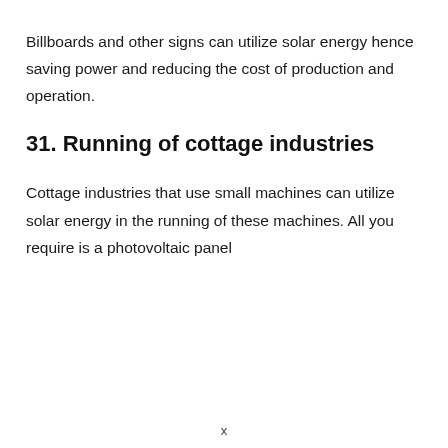Billboards and other signs can utilize solar energy hence saving power and reducing the cost of production and operation.
31. Running of cottage industries
Cottage industries that use small machines can utilize solar energy in the running of these machines. All you require is a photovoltaic panel
x